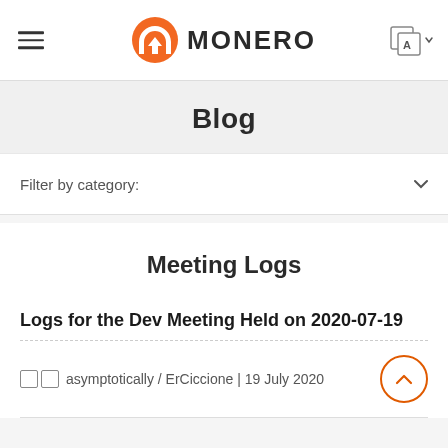MONERO
Blog
Filter by category:
Meeting Logs
Logs for the Dev Meeting Held on 2020-07-19
asymptotically / ErCiccione | 19 July 2020